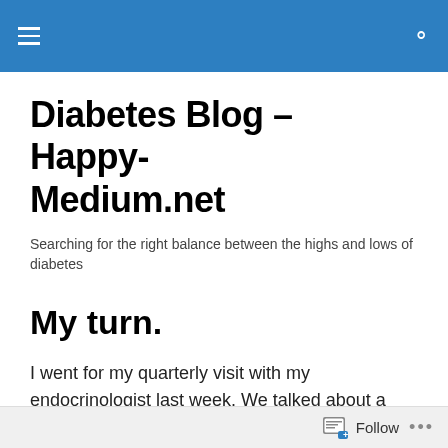Diabetes Blog – Happy-Medium.net
Diabetes Blog – Happy-Medium.net
Searching for the right balance between the highs and lows of diabetes
My turn.
I went for my quarterly visit with my endocrinologist last week. We talked about a great many things.
My A1c is still excellent, but she's concerned about night time lows. We lowered my overnight basal rate, and that
Follow